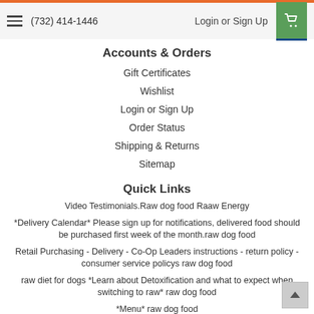(732) 414-1446   Login or Sign Up
Accounts & Orders
Gift Certificates
Wishlist
Login or Sign Up
Order Status
Shipping & Returns
Sitemap
Quick Links
Video Testimonials.Raw dog food Raaw Energy
*Delivery Calendar* Please sign up for notifications, delivered food should be purchased first week of the month.raw dog food
Retail Purchasing - Delivery - Co-Op Leaders instructions - return policy - consumer service policys raw dog food
raw diet for dogs *Learn about Detoxification and what to expect when switching to raw* raw dog food
*Menu* raw dog food
*Raaw Energy Video* raw dog food